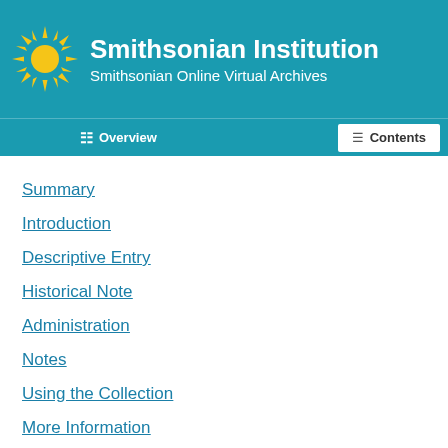Smithsonian Institution
Smithsonian Online Virtual Archives
Overview   Contents
Summary
Introduction
Descriptive Entry
Historical Note
Administration
Notes
Using the Collection
More Information